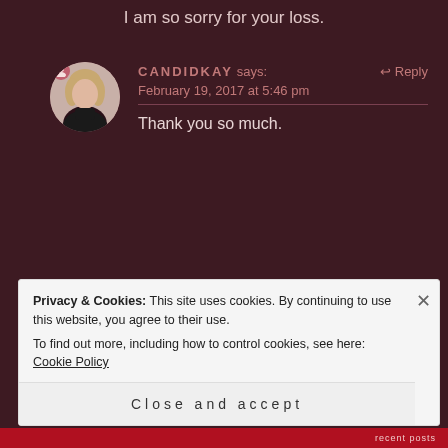I am so sorry for your loss.
CANDIDKAY says: February 19, 2017 at 5:46 pm
Thank you so much.
AMY says:
Privacy & Cookies: This site uses cookies. By continuing to use this website, you agree to their use. To find out more, including how to control cookies, see here: Cookie Policy
Close and accept